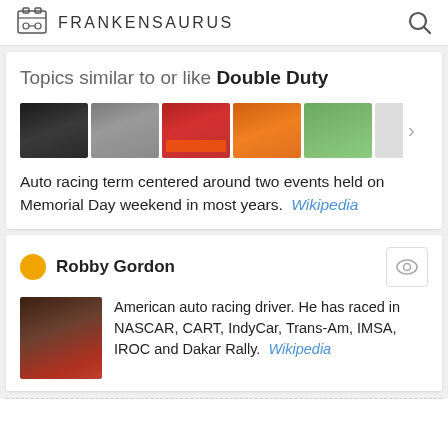FRANKENSAURUS
Topics similar to or like Double Duty
[Figure (photo): Row of thumbnail images: person in hat, stadium/arena, racing cars (red), orange racing car, aerial view of track/city, partial image. Arrow navigation button on right.]
Auto racing term centered around two events held on Memorial Day weekend in most years. Wikipedia
Robby Gordon
[Figure (photo): Small portrait photo of Robby Gordon, auto racing driver, wearing red racing gear]
American auto racing driver. He has raced in NASCAR, CART, IndyCar, Trans-Am, IMSA, IROC and Dakar Rally. Wikipedia